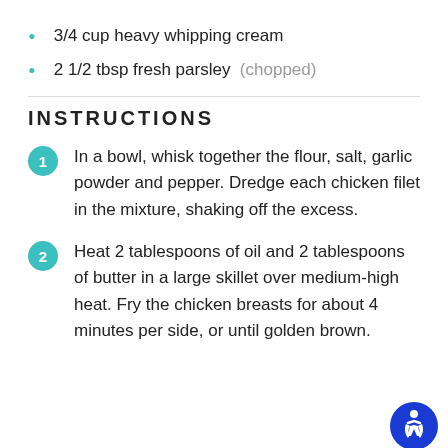3/4 cup heavy whipping cream
2 1/2 tbsp fresh parsley (chopped)
INSTRUCTIONS
In a bowl, whisk together the flour, salt, garlic powder and pepper. Dredge each chicken filet in the mixture, shaking off the excess.
Heat 2 tablespoons of oil and 2 tablespoons of butter in a large skillet over medium-high heat. Fry the chicken breasts for about 4 minutes per side, or until golden brown.